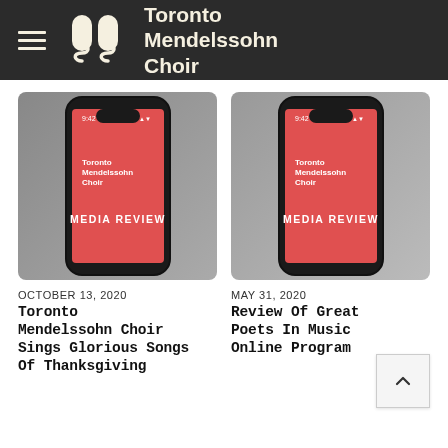Toronto Mendelssohn Choir
[Figure (screenshot): Phone mockup showing Toronto Mendelssohn Choir Media Review app screen with red background]
OCTOBER 13, 2020
Toronto Mendelssohn Choir Sings Glorious Songs Of Thanksgiving
[Figure (screenshot): Phone mockup showing Toronto Mendelssohn Choir Media Review app screen with red background]
MAY 31, 2020
Review Of Great Poets In Music Online Program